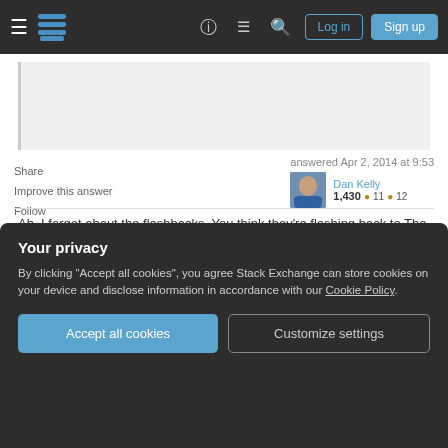Stack Exchange navigation bar with Log in and Sign up buttons
[Figure (screenshot): Gray content box representing a partial answer body]
Share
Improve this answer
Follow
answered Apr 2, 2014 at 9:53
Dan Kelly
1,430  11  12
Ah, I forgot about the flashbacks. You think they're flashing back to The Subject's time in the POW camp, before Cap's rescue? – Paul D. Waite Apr 2, 2014 at 13:13
Your privacy
By clicking "Accept all cookies", you agree Stack Exchange can store cookies on your device and disclose information in accordance with our Cookie Policy.
Accept all cookies  Customize settings
did after all create a massive "data-center" of his own